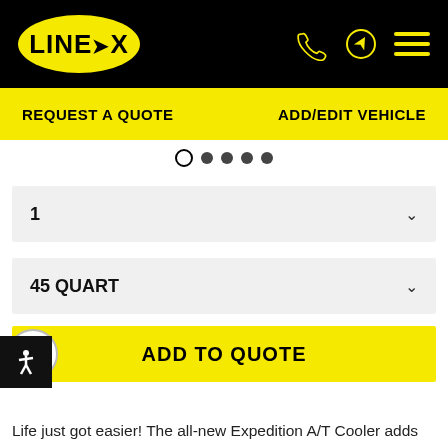[Figure (logo): LINE-X logo: black text on yellow oval, in black header bar with phone, location, and menu icons in yellow]
REQUEST A QUOTE    ADD/EDIT VEHICLE
[Figure (infographic): Pagination dots: one open circle followed by four filled circles]
1
45 QUART
ADD TO QUOTE
Life just got easier! The all-new Expedition A/T Cooler adds